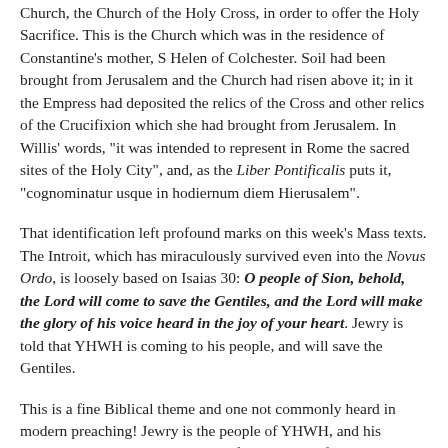Church, the Church of the Holy Cross, in order to offer the Holy Sacrifice. This is the Church which was in the residence of Constantine's mother, S Helen of Colchester. Soil had been brought from Jerusalem and the Church had risen above it; in it the Empress had deposited the relics of the Cross and other relics of the Crucifixion which she had brought from Jerusalem. In Willis' words, "it was intended to represent in Rome the sacred sites of the Holy City", and, as the Liber Pontificalis puts it, "cognominatur usque in hodiernum diem Hierusalem".
That identification left profound marks on this week's Mass texts. The Introit, which has miraculously survived even into the Novus Ordo, is loosely based on Isaias 30: O people of Sion, behold, the Lord will come to save the Gentiles, and the Lord will make the glory of his voice heard in the joy of your heart. Jewry is told that YHWH is coming to his people, and will save the Gentiles.
This is a fine Biblical theme and one not commonly heard in modern preaching! Jewry is the people of YHWH, and his promises still abide with that Faithful Remnant of his people